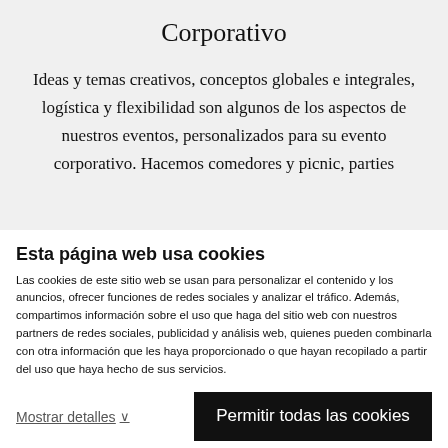Corporativo
Ideas y temas creativos, conceptos globales e integrales, logística y flexibilidad son algunos de los aspectos de nuestros eventos, personalizados para su evento corporativo. Hacemos comedores y picnic, parties
Esta página web usa cookies
Las cookies de este sitio web se usan para personalizar el contenido y los anuncios, ofrecer funciones de redes sociales y analizar el tráfico. Además, compartimos información sobre el uso que haga del sitio web con nuestros partners de redes sociales, publicidad y análisis web, quienes pueden combinarla con otra información que les haya proporcionado o que hayan recopilado a partir del uso que haya hecho de sus servicios.
Mostrar detalles
Permitir todas las cookies